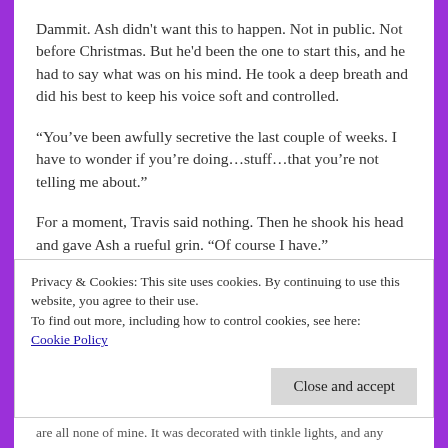Dammit.  Ash didn't want this to happen.  Not in public.  Not before Christmas.  But he'd been the one to start this, and he had to say what was on his mind.  He took a deep breath and did his best to keep his voice soft and controlled.
“You’ve been awfully secretive the last couple of weeks.  I have to wonder if you’re doing…stuff…that you’re not telling me about.”
For a moment, Travis said nothing.  Then he shook his head and gave Ash a rueful grin.  “Of course I have.”
Hearing the words hurt more than he thought they would have.  He’d been so sure that Travis was outgrowing his need to screw
Privacy & Cookies: This site uses cookies. By continuing to use this website, you agree to their use.
To find out more, including how to control cookies, see here:
Cookie Policy
Close and accept
are all none of mine. It was decorated with tinkle lights, and any